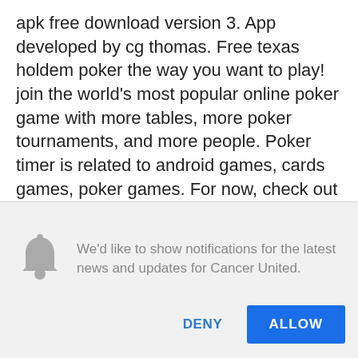apk free download version 3. App developed by cg thomas. Free texas holdem poker the way you want to play! join the world's most popular online poker game with more tables, more poker tournaments, and more people. Poker timer is related to android games, cards games, poker games. For now, check out the description of blinds are up! poker timer as provided. The number one poker timer app on the google play store! trusted by thousands of game organisers to display current blinds, remaining level time,. Poker apps android is your one-stop-shop for everything android poker. Poker setup &amp; timer: texas hold'em - poker timer
We'd like to show notifications for the latest news and updates for Cancer United.
DENY
ALLOW